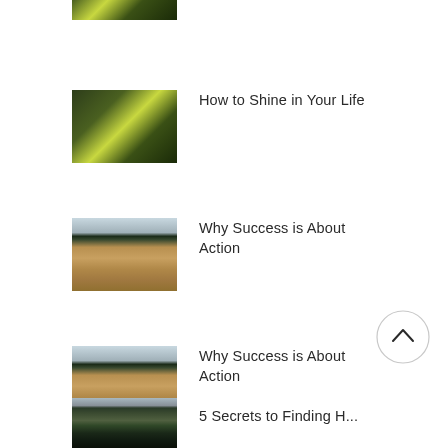[Figure (photo): Partial thumbnail of leaves/plant image, cropped at top of page]
[Figure (photo): Thumbnail of green leaves with sunlight]
How to Shine in Your Life
[Figure (photo): Thumbnail of wheat field with dark treeline]
Why Success is About Action
[Figure (photo): Thumbnail of wheat field with dark treeline]
Why Success is About Action
[Figure (photo): Thumbnail of wheat field with dark treeline]
Why Success is About Action
[Figure (other): Back to top chevron button, circular outline with upward caret]
[Figure (photo): Thumbnail of forest with sunlight through trees, partially cropped at bottom]
5 Secrets to Finding Hap...